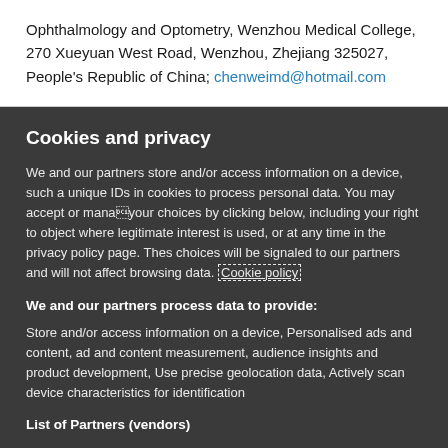Ophthalmology and Optometry, Wenzhou Medical College, 270 Xueyuan West Road, Wenzhou, Zhejiang 325027, People's Republic of China; chenweimd@hotmail.com
Cookies and privacy
We and our partners store and/or access information on a device, such as unique IDs in cookies to process personal data. You may accept or manage your choices by clicking below, including your right to object where legitimate interest is used, or at any time in the privacy policy page. These choices will be signaled to our partners and will not affect browsing data. Cookie policy
We and our partners process data to provide:
Store and/or access information on a device, Personalised ads and content, ad and content measurement, audience insights and product development, Use precise geolocation data, Actively scan device characteristics for identification
List of Partners (vendors)